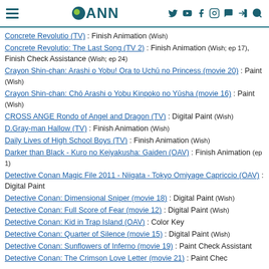ANN - Anime News Network
Concrete Revolutio (TV) : Finish Animation (Wish)
Concrete Revolutio: The Last Song (TV 2) : Finish Animation (Wish; ep 17), Finish Check Assistance (Wish; ep 24)
Crayon Shin-chan: Arashi o Yobu! Ora to Uchū no Princess (movie 20) : Paint (Wish)
Crayon Shin-chan: Chō Arashi o Yobu Kinpoko no Yūsha (movie 16) : Paint (Wish)
CROSS ANGE Rondo of Angel and Dragon (TV) : Digital Paint (Wish)
D.Gray-man Hallow (TV) : Finish Animation (Wish)
Daily Lives of High School Boys (TV) : Finish Animation (Wish)
Darker than Black - Kuro no Keiyakusha: Gaiden (OAV) : Finish Animation (ep 1)
Detective Conan Magic File 2011 - Niigata - Tokyo Omiyage Capriccio (OAV) : Digital Paint
Detective Conan: Dimensional Sniper (movie 18) : Digital Paint (Wish)
Detective Conan: Full Score of Fear (movie 12) : Digital Paint (Wish)
Detective Conan: Kid in Trap Island (OAV) : Color Key
Detective Conan: Quarter of Silence (movie 15) : Digital Paint (Wish)
Detective Conan: Sunflowers of Inferno (movie 19) : Paint Check Assistant
Detective Conan: The Crimson Love Letter (movie 21) : Paint Check...